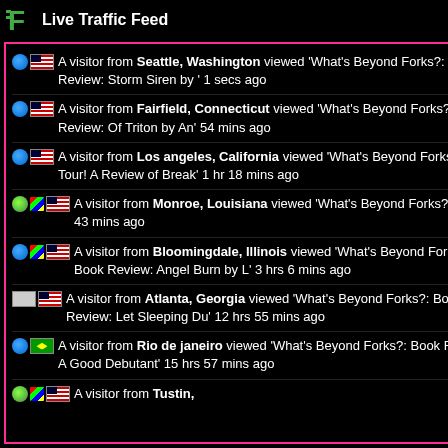Live Traffic Feed
A visitor from Seattle, Washington viewed 'What's Beyond Forks?: Book Review: Storm Siren by ' 1 secs ago
A visitor from Fairfield, Connecticut viewed 'What's Beyond Forks?: Book Review: Of Triton by An' 54 mins ago
A visitor from Los angeles, California viewed 'What's Beyond Forks?: Blog Tour! A Review of Break' 1 hr 18 mins ago
A visitor from Monroe, Louisiana viewed 'What's Beyond Forks?' 2 hrs 43 mins ago
A visitor from Bloomingdale, Illinois viewed 'What's Beyond Forks?: Book Review: Angel Burn by L' 3 hrs 6 mins ago
A visitor from Atlanta, Georgia viewed 'What's Beyond Forks?: Book Review: Let Sleeping Du' 12 hrs 55 mins ago
A visitor from Rio de janeiro viewed 'What's Beyond Forks?: Book Review: A Good Debutant' 15 hrs 57 mins ago
A visitor from Tustin,
a little bit of something for e... pretty easy to like too, aside... also liked Colin quite a bit. ... abilities, Nym thinks she's e... start seeing things different... necessary, but Storm Siren
Book Trailer:
[Figure (screenshot): Book trailer thumbnail showing a building icon in a blue circle and the letters 'St' on a dark stormy background]